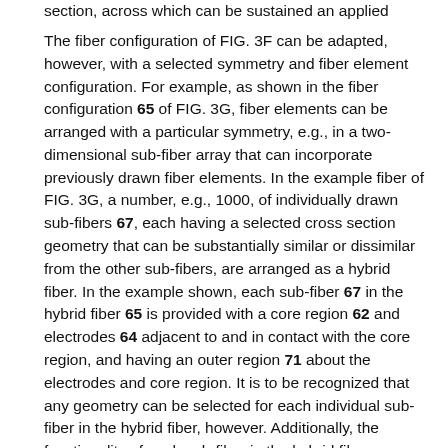section, across which can be sustained an applied voltage.
The fiber configuration of FIG. 3F can be adapted, however, with a selected symmetry and fiber element configuration. For example, as shown in the fiber configuration 65 of FIG. 3G, fiber elements can be arranged with a particular symmetry, e.g., in a two-dimensional sub-fiber array that can incorporate previously drawn fiber elements. In the example fiber of FIG. 3G, a number, e.g., 1000, of individually drawn sub-fibers 67, each having a selected cross section geometry that can be substantially similar or dissimilar from the other sub-fibers, are arranged as a hybrid fiber. In the example shown, each sub-fiber 67 in the hybrid fiber 65 is provided with a core region 62 and electrodes 64 adjacent to and in contact with the core region, and having an outer region 71 about the electrodes and core region. It is to be recognized that any geometry can be selected for each individual sub-fiber in the hybrid fiber, however. Additionally, the functionality of each sub-fiber in the hybrid fiber array can be selected to complement that of the other sub-fibers, and elements of the sub-fibers can be electrically or otherwise interconnected to form an integrated circuit hybrid fiber in